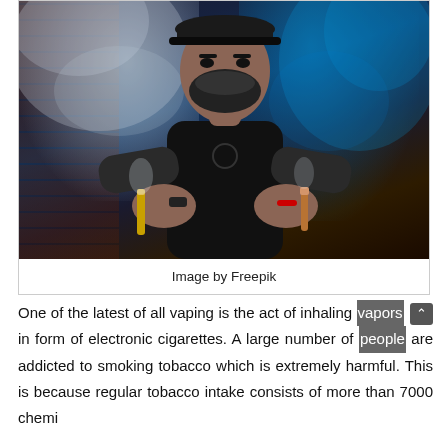[Figure (photo): A bearded man wearing a black cap and black t-shirt, holding two vaping devices and exhaling vapor/smoke clouds against a dark blue-lit background with brick wall hints]
Image by Freepik
One of the latest of all vaping is the act of inhaling vapors in form of electronic cigarettes. A large number of people are addicted to smoking tobacco which is extremely harmful. This is because regular tobacco intake consists of more than 7000 chemical substances.